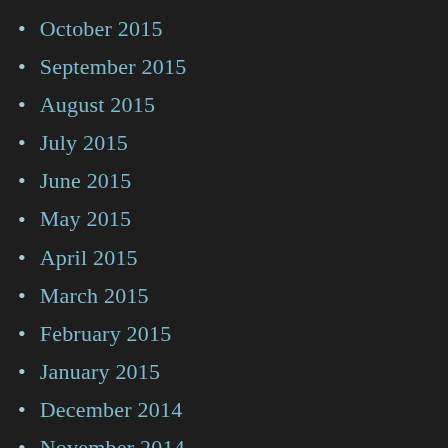October 2015
September 2015
August 2015
July 2015
June 2015
May 2015
April 2015
March 2015
February 2015
January 2015
December 2014
November 2014
October 2014
September 2014
August 2014
July 2014